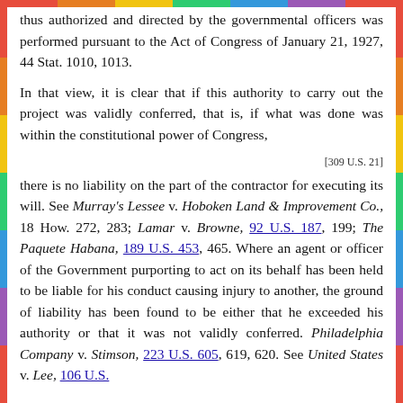thus authorized and directed by the governmental officers was performed pursuant to the Act of Congress of January 21, 1927, 44 Stat. 1010, 1013.
In that view, it is clear that if this authority to carry out the project was validly conferred, that is, if what was done was within the constitutional power of Congress,
[309 U.S. 21]
there is no liability on the part of the contractor for executing its will. See Murray's Lessee v. Hoboken Land & Improvement Co., 18 How. 272, 283; Lamar v. Browne, 92 U.S. 187, 199; The Paquete Habana, 189 U.S. 453, 465. Where an agent or officer of the Government purporting to act on its behalf has been held to be liable for his conduct causing injury to another, the ground of liability has been found to be either that he exceeded his authority or that it was not validly conferred. Philadelphia Company v. Stimson, 223 U.S. 605, 619, 620. See United States v. Lee, 106 U.S. 196, 220, 221. Noble v. Union River Logging...